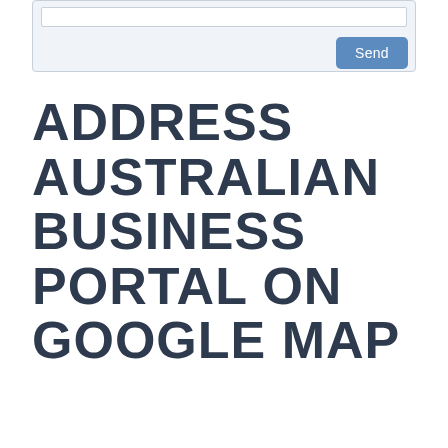[Figure (screenshot): A form UI element with a white input field at the top and a blue 'Send' button at the bottom right, on a light blue-grey background, inside a rounded border box.]
ADDRESS AUSTRALIAN BUSINESS PORTAL ON GOOGLE MAP